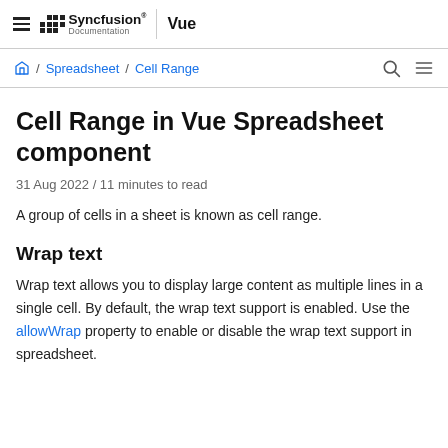Syncfusion Documentation | Vue
Home / Spreadsheet / Cell Range
Cell Range in Vue Spreadsheet component
31 Aug 2022 / 11 minutes to read
A group of cells in a sheet is known as cell range.
Wrap text
Wrap text allows you to display large content as multiple lines in a single cell. By default, the wrap text support is enabled. Use the allowWrap property to enable or disable the wrap text support in spreadsheet.